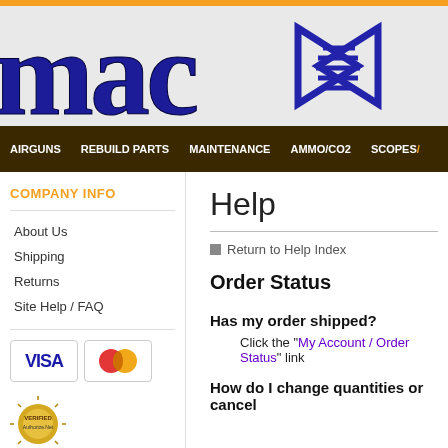[Figure (logo): MAC logo in gothic/old-english blue embroidered lettering with decorative emblem]
AIRGUNS | REBUILD PARTS | MAINTENANCE | AMMO/CO2 | SCOPES/A...
COMPANY INFO
About Us
Shipping
Returns
Site Help / FAQ
[Figure (logo): Visa and MasterCard payment logos]
[Figure (logo): Authorize.Net verified seal]
Help
Return to Help Index
Order Status
Has my order shipped?
Click the "My Account / Order Status" link
How do I change quantities or cancel